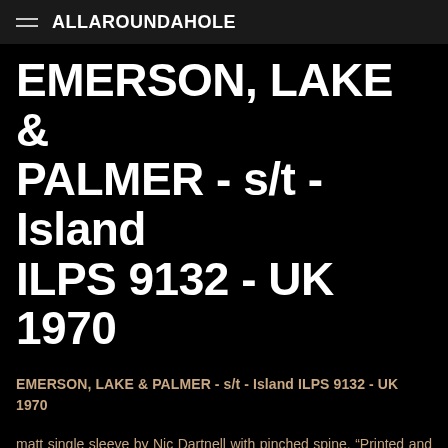ALLAROUNDAHOLE
EMERSON, LAKE & PALMER - s/t - Island ILPS 9132 - UK 1970
EMERSON, LAKE & PALMER - s/t - Island ILPS 9132 - UK 1970
matt single sleeve by Nic Dartnell with pinched spine, “Printed and made by the E. J. Day Group London and Bedford”, track listing and credits stamped in white and pink lettering on back cover; plain white inner sleeve; “smooth” pink Island label with large “i” logo